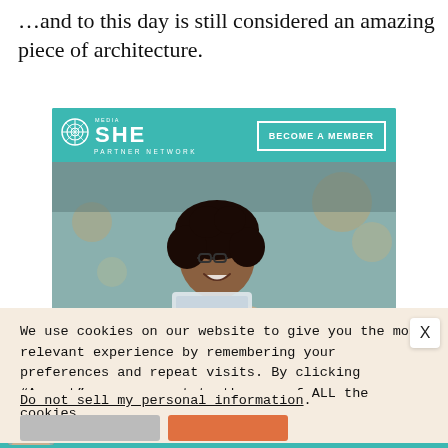…and to this day is still considered an amazing piece of architecture.
[Figure (photo): SHE Media Partner Network advertisement banner with 'BECOME A MEMBER' button and photo of smiling woman with glasses using a tablet]
We use cookies on our website to give you the most relevant experience by remembering your preferences and repeat visits. By clicking “Accept”, you consent to the use of ALL the cookies.
Do not sell my personal information.
[Figure (photo): SHE Media Partner Network bottom advertisement bar with 'WE HELP CONTENT CREATORS GROW BUSINESSES THROUGH...' text and LEARN MORE button]